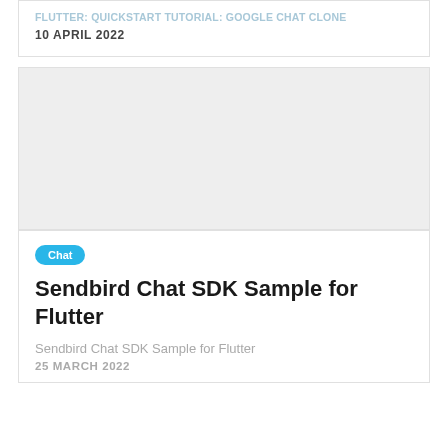Flutter: Quickstart Tutorial: Google Chat Clone
10 APRIL 2022
[Figure (other): Light grey placeholder image block]
Chat
Sendbird Chat SDK Sample for Flutter
Sendbird Chat SDK Sample for Flutter
25 MARCH 2022